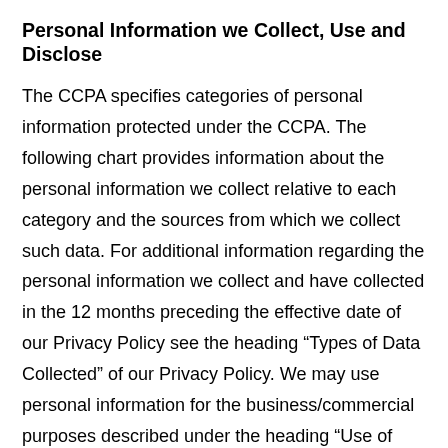Personal Information we Collect, Use and Disclose
The CCPA specifies categories of personal information protected under the CCPA. The following chart provides information about the personal information we collect relative to each category and the sources from which we collect such data. For additional information regarding the personal information we collect and have collected in the 12 months preceding the effective date of our Privacy Policy see the heading “Types of Data Collected” of our Privacy Policy. We may use personal information for the business/commercial purposes described under the heading “Use of Data” of our Privacy Policy. For